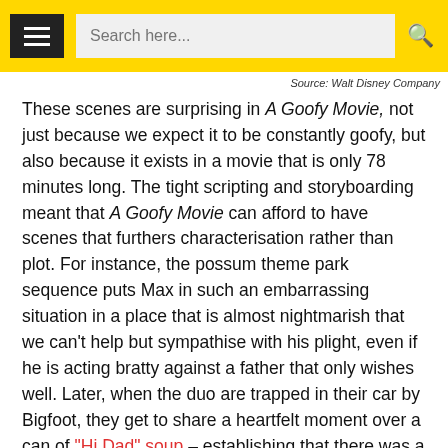Search here...
Source: Walt Disney Company
These scenes are surprising in A Goofy Movie, not just because we expect it to be constantly goofy, but also because it exists in a movie that is only 78 minutes long. The tight scripting and storyboarding meant that A Goofy Movie can afford to have scenes that furthers characterisation rather than plot. For instance, the possum theme park sequence puts Max in such an embarrassing situation in a place that is almost nightmarish that we can't help but sympathise with his plight, even if he is acting bratty against a father that only wishes well. Later, when the duo are trapped in their car by Bigfoot, they get to share a heartfelt moment over a can of "Hi Dad" soup – establishing that there was a closeness between them once.
Max and Goofy's relationship is also shown through a combination of solid writing and neat little details. In one